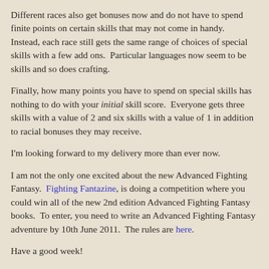Different races also get bonuses now and do not have to spend finite points on certain skills that may not come in handy.  Instead, each race still gets the same range of choices of special skills with a few add ons.  Particular languages now seem to be skills and so does crafting.
Finally, how many points you have to spend on special skills has nothing to do with your initial skill score.  Everyone gets three skills with a value of 2 and six skills with a value of 1 in addition to racial bonuses they may receive.
I'm looking forward to my delivery more than ever now.
I am not the only one excited about the new Advanced Fighting Fantasy.  Fighting Fantazine, is doing a competition where you could win all of the new 2nd edition Advanced Fighting Fantasy books.  To enter, you need to write an Advanced Fighting Fantasy adventure by 10th June 2011.  The rules are here.
Have a good week!